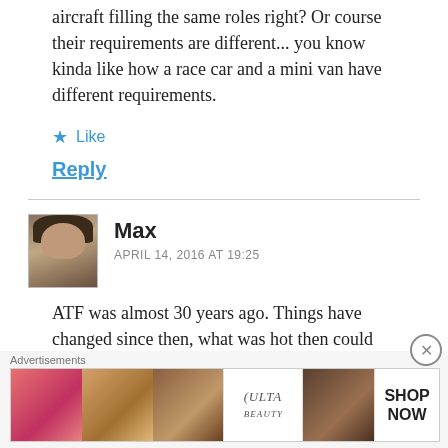aircraft filling the same roles right? Or course their requirements are different... you know kinda like how a race car and a mini van have different requirements.
★ Like
Reply
Max
APRIL 14, 2016 AT 19:25
ATF was almost 30 years ago. Things have changed since then, what was hot then could
Advertisements